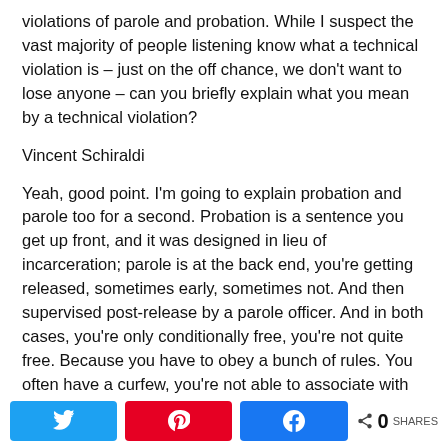violations of parole and probation. While I suspect the vast majority of people listening know what a technical violation is – just on the off chance, we don't want to lose anyone – can you briefly explain what you mean by a technical violation?
Vincent Schiraldi
Yeah, good point. I'm going to explain probation and parole too for a second. Probation is a sentence you get up front, and it was designed in lieu of incarceration; parole is at the back end, you're getting released, sometimes early, sometimes not. And then supervised post-release by a parole officer. And in both cases, you're only conditionally free, you're not quite free. Because you have to obey a bunch of rules. You often have a curfew, you're not able to associate with somebody else with a felony record. You can't use drugs or alcohol. You can't use drugs or alcohol, by the way, even if they're legal. Some